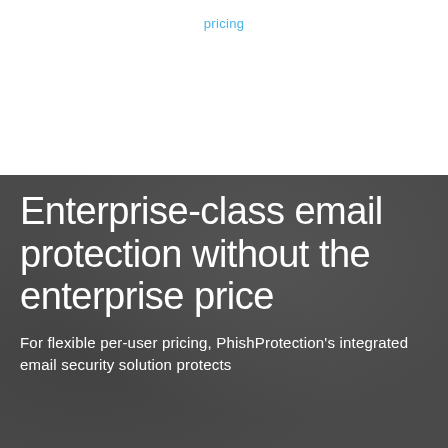pricing
Enterprise-class email protection without the enterprise price
For flexible per-user pricing, PhishProtection's integrated email security solution protects